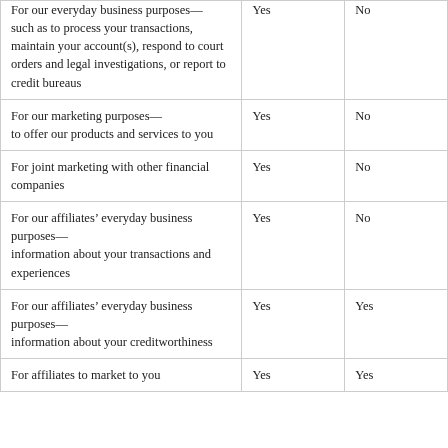| For our everyday business purposes—
such as to process your transactions, maintain your account(s), respond to court orders and legal investigations, or report to credit bureaus | Yes | No |
| For our marketing purposes—
to offer our products and services to you | Yes | No |
| For joint marketing with other financial companies | Yes | No |
| For our affiliates' everyday business purposes—
information about your transactions and experiences | Yes | No |
| For our affiliates' everyday business purposes—
information about your creditworthiness | Yes | Yes |
| For affiliates to market to you | Yes | Yes |